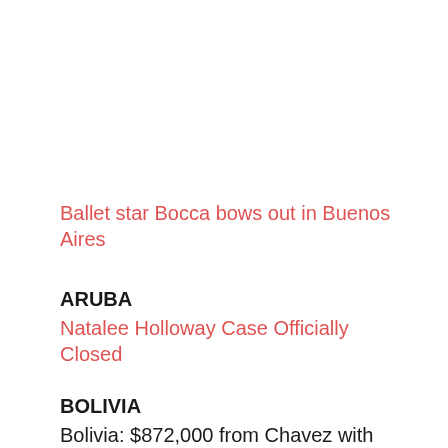Ballet star Bocca bows out in Buenos Aires
ARUBA
Natalee Holloway Case Officially Closed
BOLIVIA
Bolivia: $872,000 from Chavez with Love